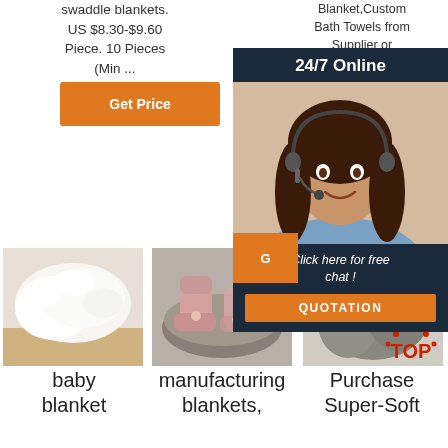swaddle blankets. US $8.30-$9.60 Piece. 10 Pieces (Min ...
[Figure (other): Orange 'Get Price' button]
Blanket,Custom Bath Towels from Supplier or Manufacturer-Hebei Aoling... Export...
[Figure (infographic): 24/7 Online chat popup with customer service agent photo, italic text 'Click here for free chat !', and orange QUOTATION button]
[Figure (photo): Fluffy white blanket product image]
[Figure (photo): Pink baby boots/shoes product image]
[Figure (photo): Gray sheepskin/fur product image with TOP badge]
baby blanket
manufacturing blankets,
Purchase Super-Soft